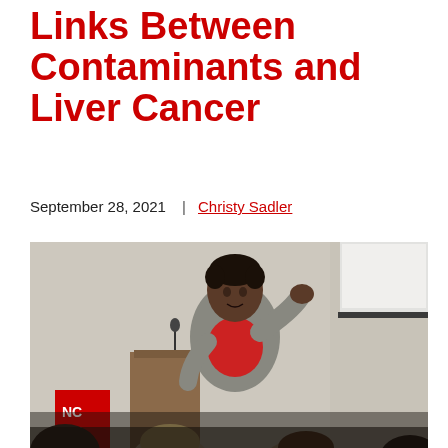Links Between Contaminants and Liver Cancer
September 28, 2021  |  Christy Sadler
[Figure (photo): A woman in a gray blazer and red top speaking at a podium to an audience in a conference room, with a projection screen visible in the upper right. An NC State University banner is visible at the bottom left.]